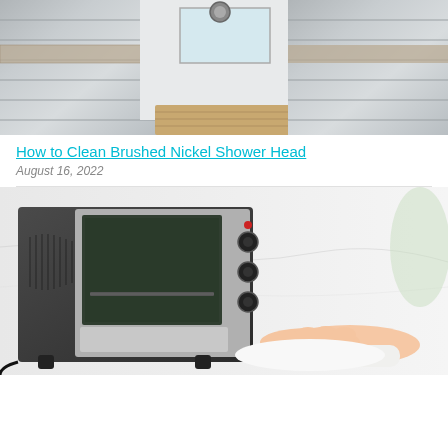[Figure (photo): Interior of a tiled walk-in shower with gray horizontal tiles and mosaic stone accent strip, wooden floor mat visible]
How to Clean Brushed Nickel Shower Head
August 16, 2022
[Figure (photo): A hand wiping a black and silver toaster oven with a white cloth on a marble countertop, oven door open]